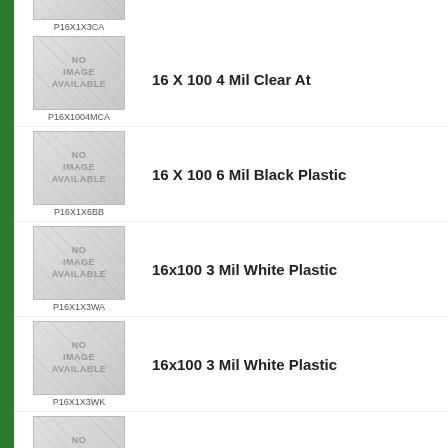[Figure (photo): No image available placeholder for P16X1X3CA (partially visible at top)]
[Figure (photo): No image available placeholder for P16X1004MCA]
16 X 100 4 Mil Clear At
[Figure (photo): No image available placeholder for P16X1X6BB]
16 X 100 6 Mil Black Plastic
[Figure (photo): No image available placeholder for P16X1X3WA]
16x100 3 Mil White Plastic
[Figure (photo): No image available placeholder for P16X1X3WK]
16x100 3 Mil White Plastic
[Figure (photo): No image available placeholder for P16X1X4BB]
16x100 4 Mil Black Plastic
[Figure (photo): No image available placeholder (partially visible at bottom)]